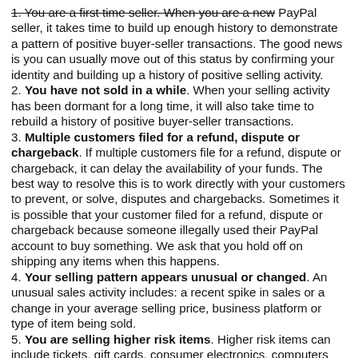1. You are a first time seller. When you are a new PayPal seller, it takes time to build up enough history to demonstrate a pattern of positive buyer-seller transactions. The good news is you can usually move out of this status by confirming your identity and building up a history of positive selling activity.
2. You have not sold in a while. When your selling activity has been dormant for a long time, it will also take time to rebuild a history of positive buyer-seller transactions.
3. Multiple customers filed for a refund, dispute or chargeback. If multiple customers file for a refund, dispute or chargeback, it can delay the availability of your funds. The best way to resolve this is to work directly with your customers to prevent, or solve, disputes and chargebacks. Sometimes it is possible that your customer filed for a refund, dispute or chargeback because someone illegally used their PayPal account to buy something. We ask that you hold off on shipping any items when this happens.
4. Your selling pattern appears unusual or changed. An unusual sales activity includes: a recent spike in sales or a change in your average selling price, business platform or type of item being sold.
5. You are selling higher risk items. Higher risk items can include tickets, gift cards, consumer electronics, computers and travel packages. You can also read our User Agreement for more information on other holds and reserves we may place on your account.